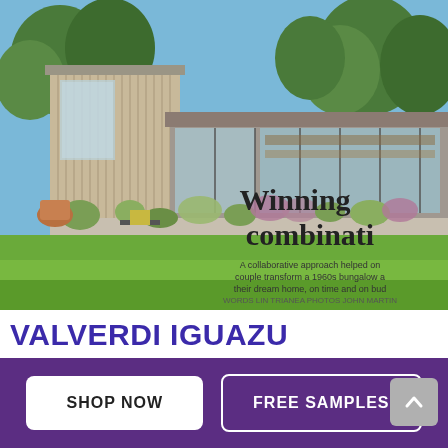[Figure (photo): Magazine cover/article spread showing a modern bungalow renovation with large glass windows, timber cladding, lush green lawn, garden planting, and blue sky with trees. Overlaid text reads 'Winning combinati' and subtext about a collaborative approach helping a couple transform a 1960s bungalow into their dream home, on time and on budget.]
VALVERDI IGUAZU FEATURED IN GRAND DESIGNS MAGAZINE
SHOP NOW
FREE SAMPLES